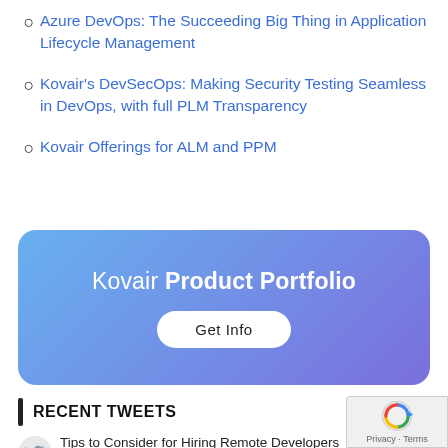Azure DevOps: The Succeeding Big Thing in Application Lifecycle Management
Kovair's DevSecOps: Making Security Testing Seamless in DevOps, with full PLM Transparency
Kovair Offerings for ALM and PPM
[Figure (infographic): Gradient banner with text 'Kovair Product Portfolio' and a 'Get Info' button. Background is a blue-to-purple gradient with rounded corners.]
RECENT TWEETS
Tips to Consider for Hiring Remote Developers https://t.co/gLwN4UYRsg